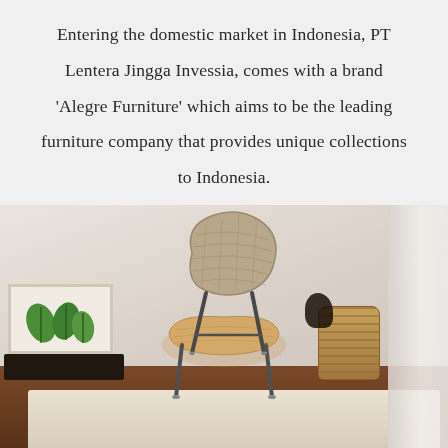Entering the domestic market in Indonesia, PT Lentera Jingga Invessia, comes with a brand ‘Alegre Furniture’ which aims to be the leading furniture company that provides unique collections to Indonesia.
[Figure (photo): A modern woven rattan chair with metal legs on a rug, next to a woven basket, a framed leaf print on a dark side table, and a white curtain in the background.]